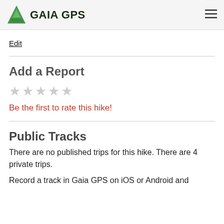GAIA GPS
Edit
Add a Report
★★★★★
Be the first to rate this hike!
Public Tracks
There are no published trips for this hike. There are 4 private trips.
Record a track in Gaia GPS on iOS or Android and